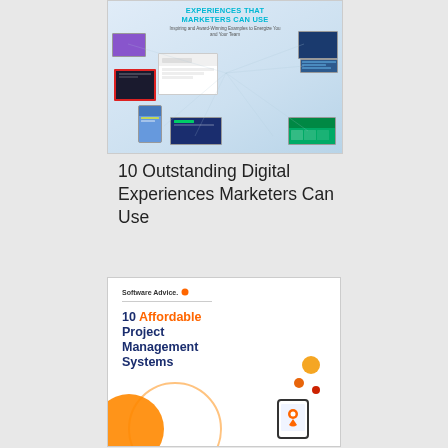[Figure (screenshot): Cover image of a document titled '10 Outstanding Digital Experiences Marketers Can Use' with subtitle 'Inspiring and Award-Winning Examples to Energize You and Your Team'. Shows multiple floating UI/web screenshots on a light blue background.]
10 Outstanding Digital Experiences Marketers Can Use
[Figure (screenshot): Cover of 'Software Advice' branded document titled '10 Affordable Project Management Systems' with orange and navy text, decorative circles and a location pin icon illustration on white background.]